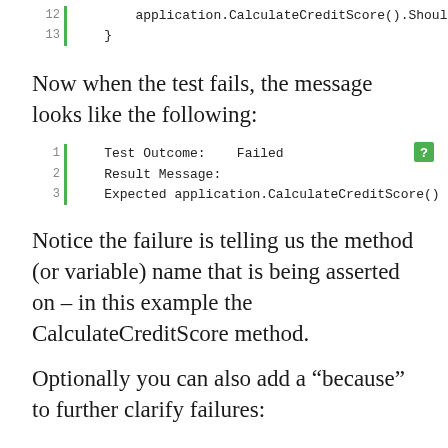[Figure (screenshot): Code block showing lines 12-13: application.CalculateCreditScore().Shoul and closing brace]
Now when the test fails, the message looks like the following:
[Figure (screenshot): Code output block lines 1-3: Test Outcome: Failed, Result Message:, Expected application.CalculateCreditScore() t]
Notice the failure is telling us the method (or variable) name that is being asserted on – in this example the CalculateCreditScore method.
Optionally you can also add a "because" to further clarify failures: